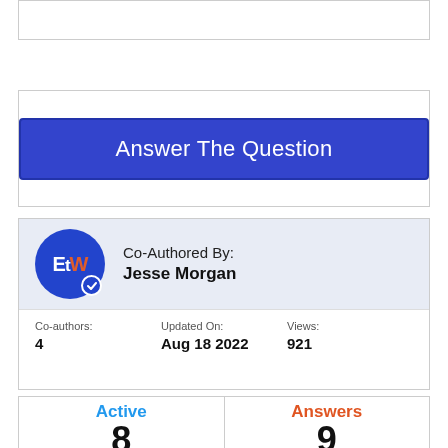[Figure (other): Empty top box with border]
Answer The Question
Co-Authored By:
Jesse Morgan
| Co-authors: | Updated On: | Views: |
| --- | --- | --- |
| 4 | Aug 18 2022 | 921 |
Active
8
Answers
9